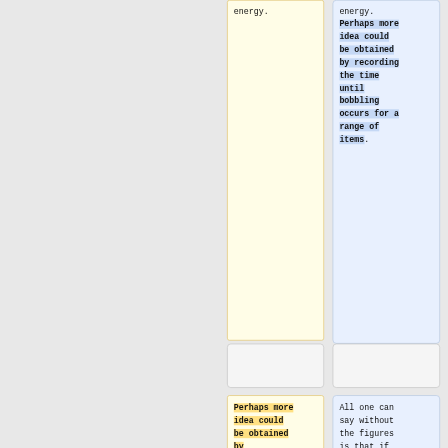energy.
Perhaps more idea could be obtained by recording the time until bobbling occurs for a range of items.
Perhaps more idea could be obtained by
All one can say without the figures is that if you ever throw clothes out due to wear, they would